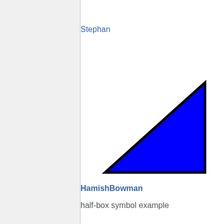Stephan
[Figure (illustration): A blue right triangle with black outline, right angle at bottom-left, pointing up-right.]
HamishBowman
half-box symbol example